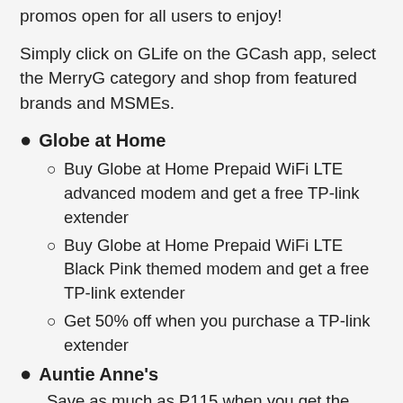promos open for all users to enjoy!
Simply click on GLife on the GCash app, select the MerryG category and shop from featured brands and MSMEs.
Globe at Home
Buy Globe at Home Prepaid WiFi LTE advanced modem and get a free TP-link extender
Buy Globe at Home Prepaid WiFi LTE Black Pink themed modem and get a free TP-link extender
Get 50% off when you purchase a TP-link extender
Auntie Anne's
Save as much as P115 when you get the Holiday Bundle, which includes a box of pretzel and 1 liter of lemonade for only